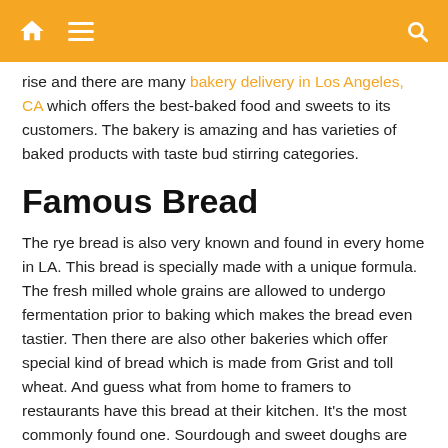Navigation bar with home, menu, and search icons
rise and there are many bakery delivery in Los Angeles, CA which offers the best-baked food and sweets to its customers. The bakery is amazing and has varieties of baked products with taste bud stirring categories.
Famous Bread
The rye bread is also very known and found in every home in LA. This bread is specially made with a unique formula. The fresh milled whole grains are allowed to undergo fermentation prior to baking which makes the bread even tastier. Then there are also other bakeries which offer special kind of bread which is made from Grist and toll wheat. And guess what from home to framers to restaurants have this bread at their kitchen. It's the most commonly found one. Sourdough and sweet doughs are also available. And there is a crowd which prefers both as it also presented in a fanciful manner both in the market and bakeries.